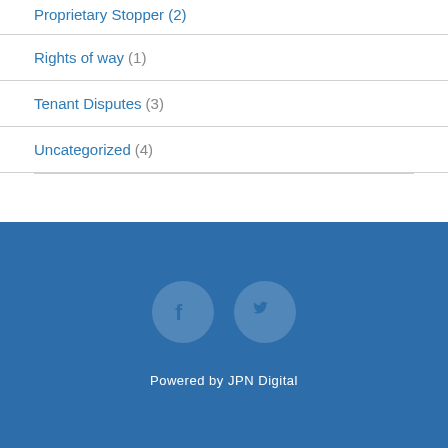Rights of way (1)
Tenant Disputes (3)
Uncategorized (4)
[Figure (illustration): Social media icons: Facebook and Twitter circular buttons on blue background with 'Powered by JPN Digital' text below]
Powered by JPN Digital